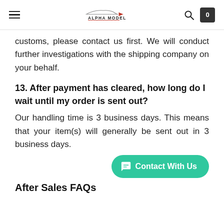Alpha Model — Navigation header with hamburger menu, logo, search, and cart icons
customs, please contact us first. We will conduct further investigations with the shipping company on your behalf.
13. After payment has cleared, how long do I wait until my order is sent out?
Our handling time is 3 business days. This means that your item(s) will generally be sent out in 3 business days.
[Figure (other): Contact With Us button (teal rounded button with chat icon)]
After Sales FAQs